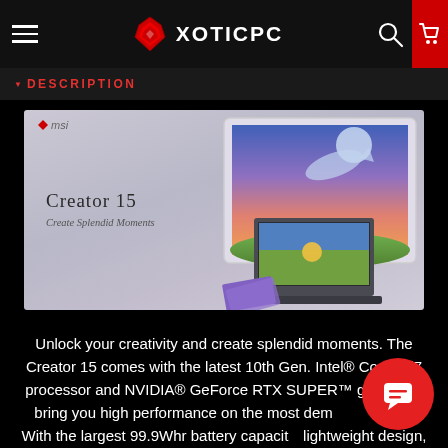XOTICPC
DESCRIPTION
[Figure (photo): MSI Creator 15 laptop promotional banner. Shows the laptop in front of a large monitor displaying a fantasy landscape scene with whale and aurora. Text reads: Creator 15, Create Splendid Moments. MSI logo top-left.]
Unlock your creativity and create splendid moments. The Creator 15 comes with the latest 10th Gen. Intel® Core™ i7 processor and NVIDIA® GeForce RTX SUPER™ graphic to bring you high performance on the most demanding task. With the largest 99.9Whr battery capacity, lightweight design, bring your studio everywhere. From